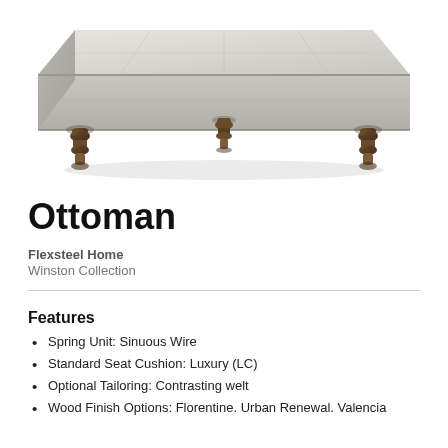[Figure (photo): Photo of a light gray fabric ottoman with four dark brown turned wooden legs, viewed from a slightly elevated angle showing the top tufted surface and legs.]
Ottoman
Flexsteel Home
Winston Collection
Features
Spring Unit: Sinuous Wire
Standard Seat Cushion: Luxury (LC)
Optional Tailoring: Contrasting welt
Wood Finish Options: Florentine. Urban Renewal. Valencia